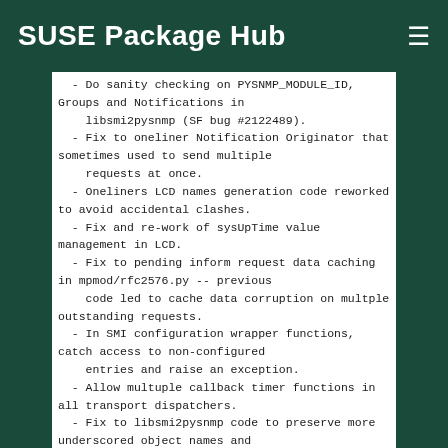SUSE Package Hub
- Do sanity checking on PYSNMP_MODULE_ID, Groups and Notifications in
    libsmi2pysnmp (SF bug #2122489).
  - Fix to oneliner Notification Originator that sometimes used to send multiple
    requests at once.
  - Oneliners LCD names generation code reworked to avoid accidental clashes.
  - Fix and re-work of sysUpTime value management in LCD.
  - Fix to pending inform request data caching in mpmod/rfc2576.py -- previous
    code led to cache data corruption on multple outstanding requests.
  - In SMI configuration wrapper functions, catch access to non-configured
    entries and raise an exception.
  - Allow multuple callback timer functions in all transport dispatchers.
  - Fix to libsmi2pysnmp code to preserve more underscored object names and
    to guess the right type